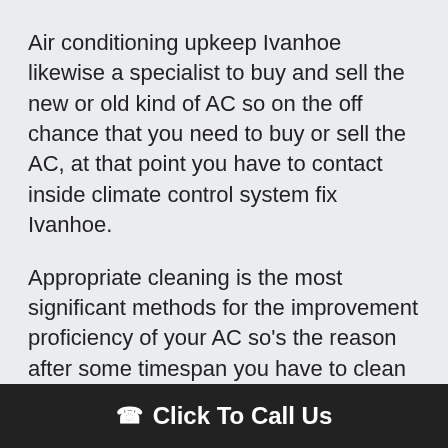Air conditioning upkeep Ivanhoe likewise a specialist to buy and sell the new or old kind of AC so on the off chance that you need to buy or sell the AC, at that point you have to contact inside climate control system fix Ivanhoe.
Appropriate cleaning is the most significant methods for the improvement proficiency of your AC so's the reason after some timespan you have to clean your AC inside the assistance of expert group so in the event that you search for the top notch cleaning
Click To Call Us